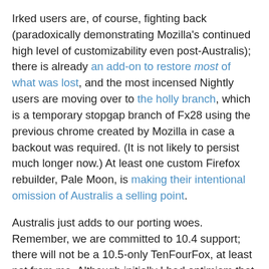Irked users are, of course, fighting back (paradoxically demonstrating Mozilla's continued high level of customizability even post-Australis); there is already an add-on to restore most of what was lost, and the most incensed Nightly users are moving over to the holly branch, which is a temporary stopgap branch of Fx28 using the previous chrome created by Mozilla in case a backout was required. (It is not likely to persist much longer now.) At least one custom Firefox rebuilder, Pale Moon, is making their intentional omission of Australis a selling point.
Australis just adds to our porting woes. Remember, we are committed to 10.4 support; there will not be a 10.5-only TenFourFox, at least not from me. Although initially I had optimism that the technical issues could be worked around, we already have at least one glitch due to the underlying widget changes (issue 247) and future changes will likely make this worse. There are also new dependencies on components of the Objective-C 2.0 runtime (10.5+) which probably can't be effectively implemented for 10.4.
Australis also has practical considerations for our older